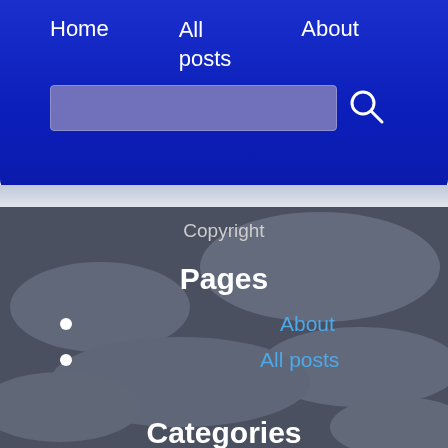Home   All posts   About
Copyright
Pages
About
All posts
Categories
bible
blog update
christology